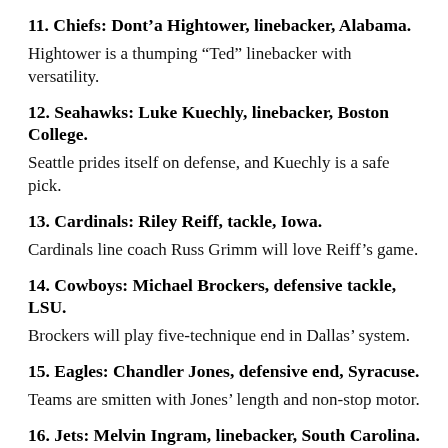11. Chiefs: Dont’a Hightower, linebacker, Alabama.
Hightower is a thumping “Ted” linebacker with versatility.
12. Seahawks: Luke Kuechly, linebacker, Boston College.
Seattle prides itself on defense, and Kuechly is a safe pick.
13. Cardinals: Riley Reiff, tackle, Iowa.
Cardinals line coach Russ Grimm will love Reiff’s game.
14. Cowboys: Michael Brockers, defensive tackle, LSU.
Brockers will play five-technique end in Dallas’ system.
15. Eagles: Chandler Jones, defensive end, Syracuse.
Teams are smitten with Jones’ length and non-stop motor.
16. Jets: Melvin Ingram, linebacker, South Carolina.
Coach Rex Ryan isn’t worried about Ingram’s short arms.